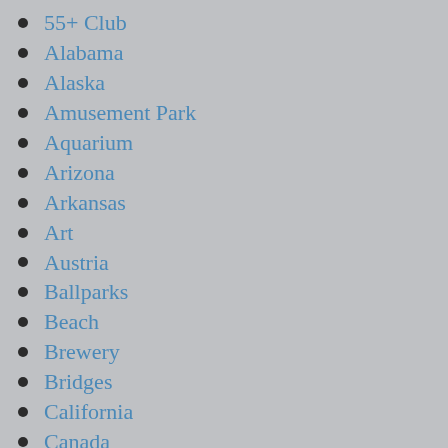55+ Club
Alabama
Alaska
Amusement Park
Aquarium
Arizona
Arkansas
Art
Austria
Ballparks
Beach
Brewery
Bridges
California
Canada
Capitol Building